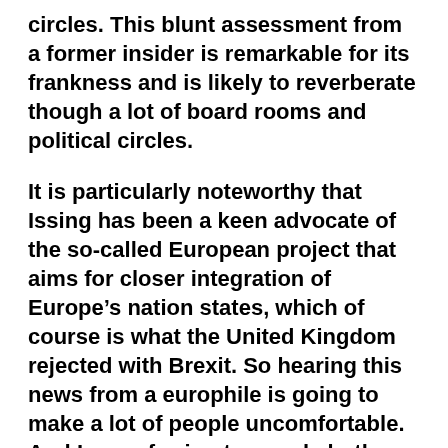circles. This blunt assessment from a former insider is remarkable for its frankness and is likely to reverberate though a lot of board rooms and political circles.
It is particularly noteworthy that Issing has been a keen advocate of the so-called European project that aims for closer integration of Europe’s nation states, which of course is what the United Kingdom rejected with Brexit. So hearing this news from a europhile is going to make a lot of people uncomfortable. And I am referring to people both inside and out of the ECB.
The Daily Telegraph report went on to say,